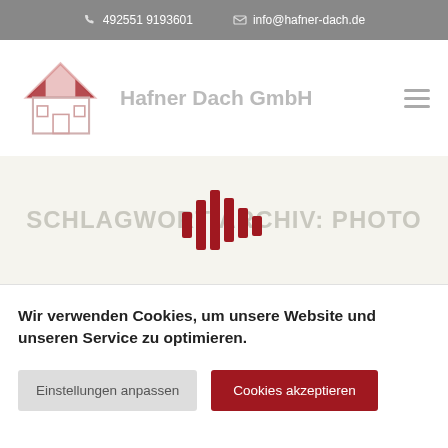492551 9193601   info@hafner-dach.de
[Figure (logo): Hafner Dach GmbH logo: house outline with red roof and company name]
[Figure (infographic): Banner section with text SCHLAGWORT-ARCHIV: PHOTO overlaid with a red audio waveform / bar chart icon in the center]
Wir verwenden Cookies, um unsere Website und unseren Service zu optimieren.
Einstellungen anpassen
Cookies akzeptieren